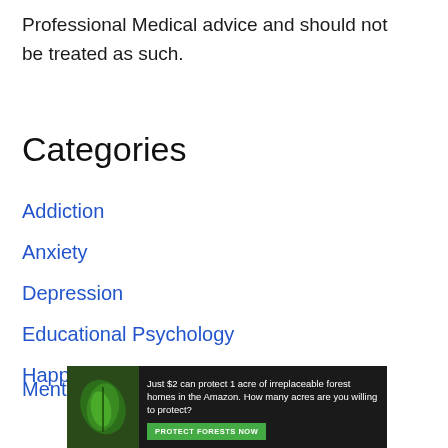Professional Medical advice and should not be treated as such.
Categories
Addiction
Anxiety
Depression
Educational Psychology
Happiness
Mental Disorder
[Figure (other): Advertisement banner: 'Just $2 can protect 1 acre of irreplaceable forest homes in the Amazon. How many acres are you willing to protect?' with a green Protect Forests Now button and forest/leaf imagery.]